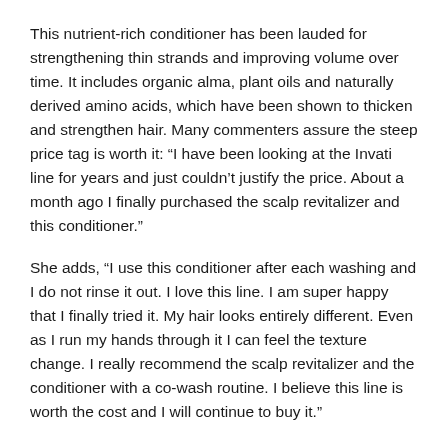This nutrient-rich conditioner has been lauded for strengthening thin strands and improving volume over time. It includes organic alma, plant oils and naturally derived amino acids, which have been shown to thicken and strengthen hair. Many commenters assure the steep price tag is worth it: “I have been looking at the Invati line for years and just couldn’t justify the price. About a month ago I finally purchased the scalp revitalizer and this conditioner.”
She adds, “I use this conditioner after each washing and I do not rinse it out. I love this line. I am super happy that I finally tried it. My hair looks entirely different. Even as I run my hands through it I can feel the texture change. I really recommend the scalp revitalizer and the conditioner with a co-wash routine. I believe this line is worth the cost and I will continue to buy it.”